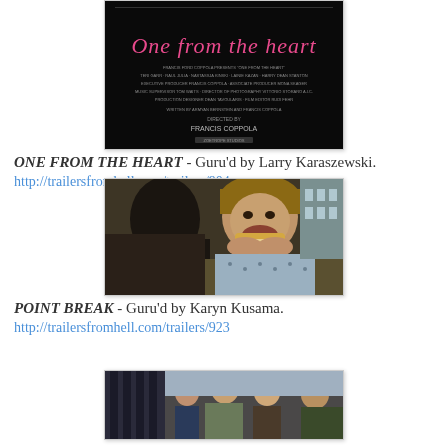[Figure (photo): Movie poster for 'One from the Heart' with pink cursive title text on black background]
ONE FROM THE HEART - Guru'd by Larry Karaszewski.
http://trailersfromhell.com/trailers/904
[Figure (photo): Film still showing a man eating a sandwich/food while leaning out of a car window, wearing a patterned shirt]
POINT BREAK - Guru'd by Karyn Kusama.
http://trailersfromhell.com/trailers/923
[Figure (photo): Film still showing a group of people, partially visible at bottom of page]